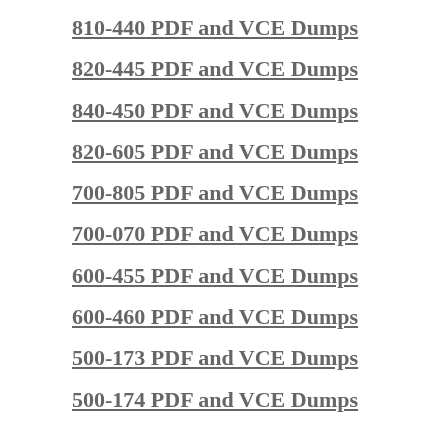810-440 PDF and VCE Dumps
820-445 PDF and VCE Dumps
840-450 PDF and VCE Dumps
820-605 PDF and VCE Dumps
700-805 PDF and VCE Dumps
700-070 PDF and VCE Dumps
600-455 PDF and VCE Dumps
600-460 PDF and VCE Dumps
500-173 PDF and VCE Dumps
500-174 PDF and VCE Dumps